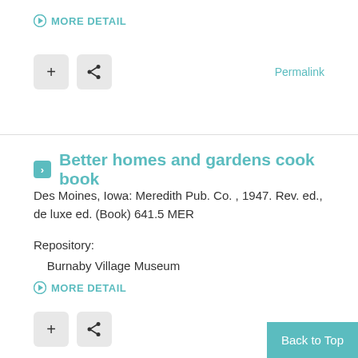MORE DETAIL
[Figure (screenshot): Two icon buttons: a plus button and a share button, and a Permalink link]
Better homes and gardens cook book
Des Moines, Iowa: Meredith Pub. Co. , 1947. Rev. ed., de luxe ed. (Book) 641.5 MER
Repository:
    Burnaby Village Museum
MORE DETAIL
[Figure (screenshot): Two icon buttons: a plus button and a share button, and a Permalink link]
Back to Top